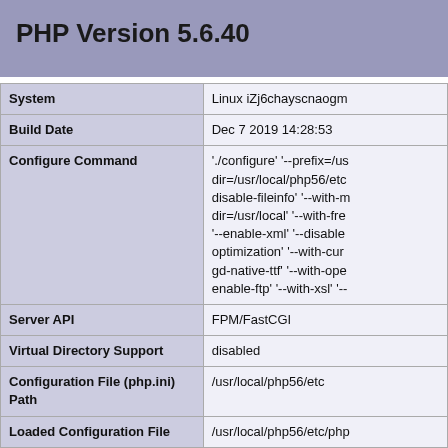PHP Version 5.6.40
| Key | Value |
| --- | --- |
| System | Linux iZj6chayscnaogm |
| Build Date | Dec 7 2019 14:28:53 |
| Configure Command | './configure' '--prefix=/us dir=/usr/local/php56/etc disable-fileinfo' '--with-m dir=/usr/local' '--with-fre '--enable-xml' '--disable optimization' '--with-cur gd-native-ttf' '--with-ope enable-ftp' '--with-xsl' '-- |
| Server API | FPM/FastCGI |
| Virtual Directory Support | disabled |
| Configuration File (php.ini) Path | /usr/local/php56/etc |
| Loaded Configuration File | /usr/local/php56/etc/php |
| Scan this dir for additional .ini files | /usr/local/php56/etc/php |
| Additional .ini files parsed | /usr/local/php56/etc/php fileinfo.ini, /usr/local/php /usr/local/php56/etc/php |
| PHP API | 20131106 |